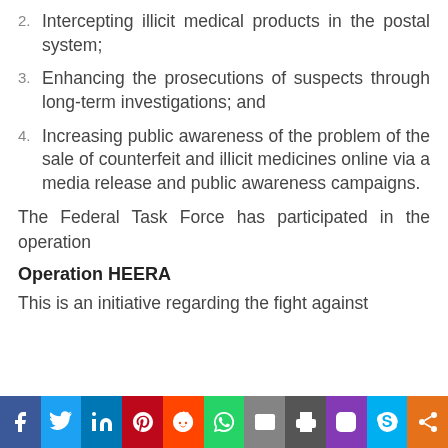2. Intercepting illicit medical products in the postal system;
3. Enhancing the prosecutions of suspects through long-term investigations; and
4. Increasing public awareness of the problem of the sale of counterfeit and illicit medicines online via a media release and public awareness campaigns.
The Federal Task Force has participated in the operation
Operation HEERA
This is an initiative regarding the fight against